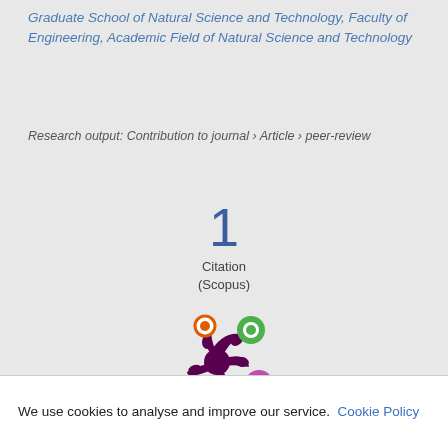Graduate School of Natural Science and Technology, Faculty of Engineering, Academic Field of Natural Science and Technology
Research output: Contribution to journal › Article › peer-review
1
Citation
(Scopus)
[Figure (logo): Altmetric donut/splash logo with colorful dots in orange, green, and purple on dark purple starburst shape]
We use cookies to analyse and improve our service. Cookie Policy